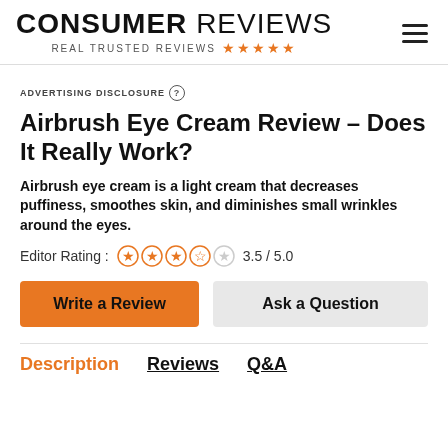CONSUMER REVIEWS — REAL TRUSTED REVIEWS
ADVERTISING DISCLOSURE
Airbrush Eye Cream Review – Does It Really Work?
Airbrush eye cream is a light cream that decreases puffiness, smoothes skin, and diminishes small wrinkles around the eyes.
Editor Rating : 3.5 / 5.0
Write a Review | Ask a Question
Description | Reviews | Q&A